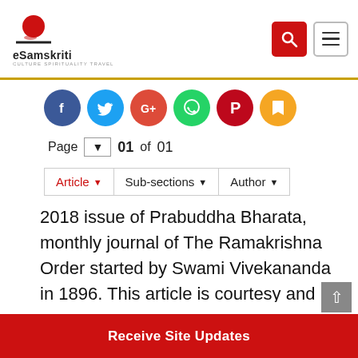eSamskriti - Culture Spirituality Travel
[Figure (other): Social share icons: Facebook, Twitter, Google+, WhatsApp, Pinterest, Bookmark]
Page 01 of 01
Article | Sub-sections | Author
2018 issue of Prabuddha Bharata, monthly journal of The Ramakrishna Order started by Swami Vivekananda in 1896. This article is courtesy and copyright Prabuddha Bharata. I have been reading the Prabuddha Bharata for years and found it enlightening. Cost is Rs 180/ for one year, Rs 475/ for three years, Rs
Receive Site Updates